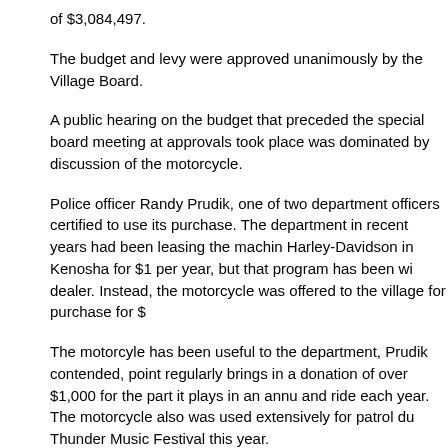of $3,084,497.
The budget and levy were approved unanimously by the Village Board.
A public hearing on the budget that preceded the special board meeting at approvals took place was dominated by discussion of the motorcycle.
Police officer Randy Prudik, one of two department officers certified to use its purchase. The department in recent years had been leasing the machin Harley-Davidson in Kenosha for $1 per year, but that program has been wi dealer. Instead, the motorcycle was offered to the village for purchase for $
The motorcyle has been useful to the department, Prudik contended, point regularly brings in a donation of over $1,000 for the part it plays in an annu and ride each year. The motorcycle also was used extensively for patrol du Thunder Music Festival this year.
Trustee Sharon Bower, however, repeated her criticism of the purchase, sa much to spend during economically challenged times. She added that the seen little use in the past, with it having just 3,000 miles on its odometer.
“That motorcycle has not been used that much,” Bower said.